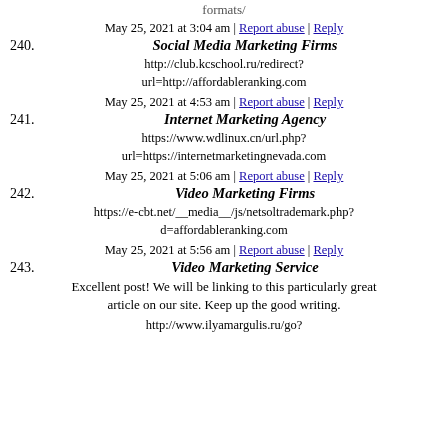formats/
240. Social Media Marketing Firms
May 25, 2021 at 3:04 am | Report abuse | Reply
http://club.kcschool.ru/redirect?url=http://affordableranking.com
241. Internet Marketing Agency
May 25, 2021 at 4:53 am | Report abuse | Reply
https://www.wdlinux.cn/url.php?url=https://internetmarketingnevada.com
242. Video Marketing Firms
May 25, 2021 at 5:06 am | Report abuse | Reply
https://e-cbt.net/__media__/js/netsoltrademark.php?d=affordableranking.com
243. Video Marketing Service
May 25, 2021 at 5:56 am | Report abuse | Reply
Excellent post! We will be linking to this particularly great article on our site. Keep up the good writing.
http://www.ilyamargulis.ru/go?
http://www.ilyamargulis.ru/go?